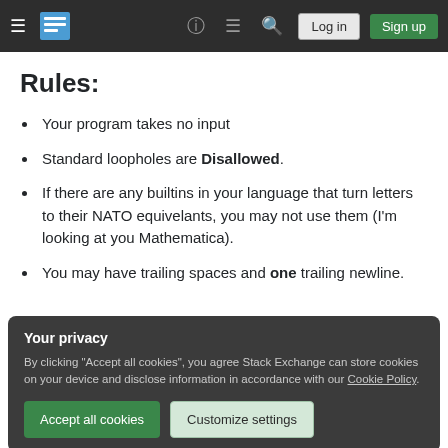Stack Exchange navigation bar with hamburger menu, logo, help, chat, search icons, Log in and Sign up buttons
Rules:
Your program takes no input
Standard loopholes are Disallowed.
If there are any builtins in your language that turn letters to their NATO equivelants, you may not use them (I'm looking at you Mathematica).
You may have trailing spaces and one trailing newline.
Your privacy
By clicking "Accept all cookies", you agree Stack Exchange can store cookies on your device and disclose information in accordance with our Cookie Policy.
Accept all cookies  Customize settings
asked Mar 7, 2017 at 8:31